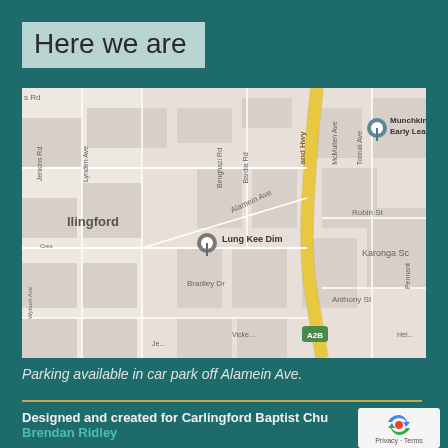Here we are
[Figure (map): Google Maps screenshot showing the area around Carlingford, NSW, Australia. Shows streets including Alamein Ave, Bardia Rd, McMullen Ave, Tobruk Ave, Bradley Dr, Robin St, Jenkins Rd, Lynden Ave, Wyburn Ave. A yellow highway (and Hwy) runs vertically. Location pins for Lung Kee Dim and Munchkin Ma Early Learning are visible. A2B road marker shown.]
Parking available in car park off Alamein Ave.
Designed and created for Carlingford Baptist Church
Brendan Ridley